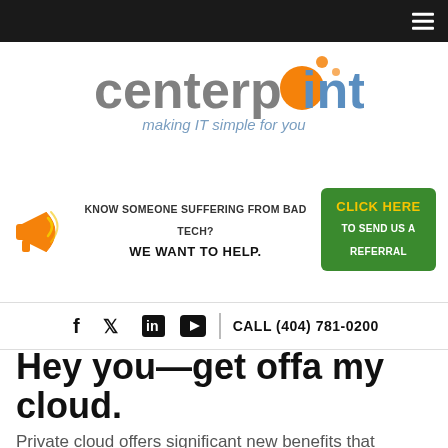[Figure (logo): Centerpoint logo with orange dot design and tagline 'making IT simple for you']
[Figure (infographic): Referral banner with megaphone icon: 'KNOW SOMEONE SUFFERING FROM BAD TECH? WE WANT TO HELP.' with green CLICK HERE TO SEND US A REFERRAL button]
f  Twitter  in  YouTube  |  CALL (404) 781-0200
Hey you—get offa my cloud.
Private cloud offers significant new benefits that